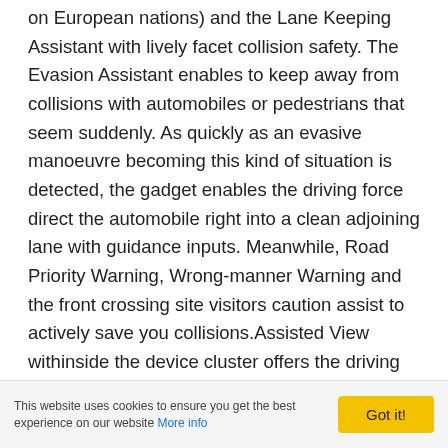on European nations) and the Lane Keeping Assistant with lively facet collision safety. The Evasion Assistant enables to keep away from collisions with automobiles or pedestrians that seem suddenly. As quickly as an evasive manoeuvre becoming this kind of situation is detected, the gadget enables the driving force direct the automobile right into a clean adjoining lane with guidance inputs. Meanwhile, Road Priority Warning, Wrong-manner Warning and the front crossing site visitors caution assist to actively save you collisions.Assisted View withinside the device cluster offers the driving force a top level view of the activated structures and their capability. To this stop, the valuable place of the cockpit show is reserved for a 3-dimensional mock-up of the automobile and its
This website uses cookies to ensure you get the best experience on our website More info